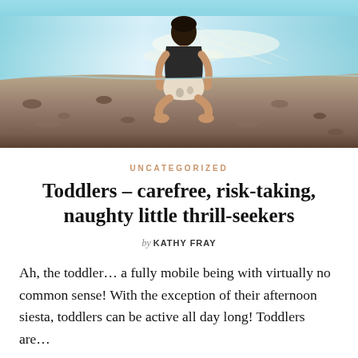[Figure (photo): A toddler boy sitting cross-legged on a rocky shoreline with their back to the camera, facing the water. The child wears a dark sleeveless top and shorts/diaper. The water reflects sunlight in the background.]
UNCATEGORIZED
Toddlers – carefree, risk-taking, naughty little thrill-seekers
by KATHY FRAY
Ah, the toddler… a fully mobile being with virtually no common sense! With the exception of their afternoon siesta, toddlers can be active all day long! Toddlers are…